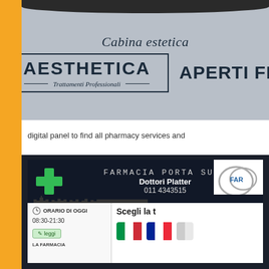[Figure (photo): Photo of a pharmacy sign showing 'Cabina estetica' in italic text above a box containing 'AESTHETICA' in bold with 'Trattamenti Professionali' subtitle, and partially visible text 'APERTI FIN...' to the right. Background is grey wall.]
digital panel to find all pharmacy services and
[Figure (photo): Photo of a pharmacy digital touchscreen panel showing 'FARMACIA PORTA SUSA', 'Dottori Platter', phone '011 4343515', Turin skyline silhouette, 'ORARIO DI OGGI', '08:30-21:30', a 'leggi' button, 'LA FARMACIA' label, 'Scegli la t...' text, flag buttons for language selection, and a circular logo on the right.]